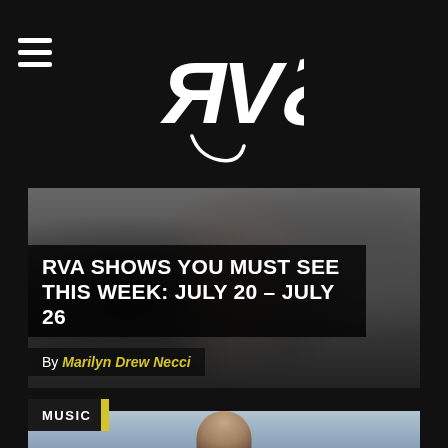[Figure (logo): RVS logo in stylized white lettering on black background]
[Figure (photo): Band performing, woman with dark hair singing at microphone in foreground, drummer in background]
RVA SHOWS YOU MUST SEE THIS WEEK: JULY 20 – JULY 26
By Marilyn Drew Necci
MUSIC
[Figure (photo): Man standing outdoors against overcast sky, partial view cropped at bottom of page]